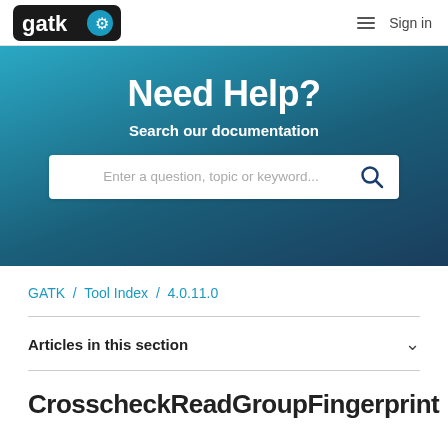gatk [logo] | ≡ Sign in
Need Help?
Search our documentation
Enter a question, topic or keyword...
GATK / Tool Index / 4.0.11.0
Articles in this section
CrosscheckReadGroupFingerprint